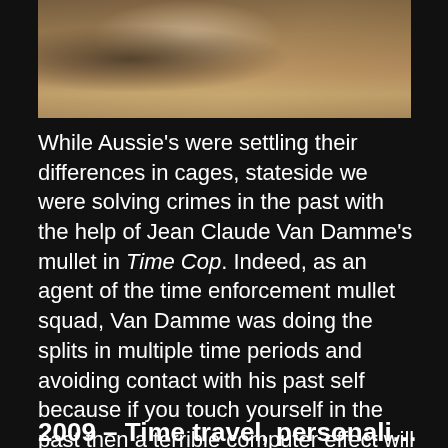[Figure (photo): A dimly lit brownish-tan indoor scene, possibly a room or corridor, with muted warm tones.]
While Aussie's were settling their differences in cages, stateside we were solving crimes in the past with the help of Jean Claude Van Damme's mullet in Time Cop. Indeed, as an agent of the time enforcement mullet squad, Van Damme was doing the splits in multiple time periods and avoiding contact with his past self because if you touch yourself in the past then a terrible computer effect will eat you both in a giant storm of no damn sense whatsoever.
2009 – Time travel, personality transfer